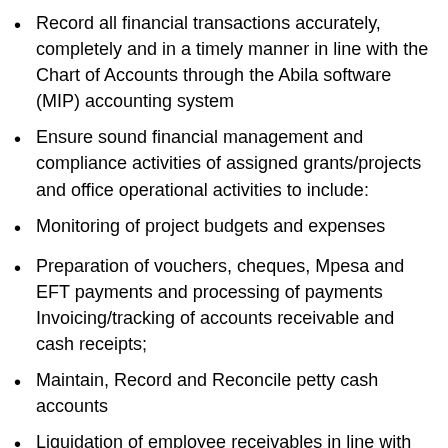Record all financial transactions accurately, completely and in a timely manner in line with the Chart of Accounts through the Abila software (MIP) accounting system
Ensure sound financial management and compliance activities of assigned grants/projects and office operational activities to include:
Monitoring of project budgets and expenses
Preparation of vouchers, cheques, Mpesa and EFT payments and processing of payments Invoicing/tracking of accounts receivable and cash receipts;
Maintain, Record and Reconcile petty cash accounts
Liquidation of employee receivables in line with manual records/expense forms from staff ✓